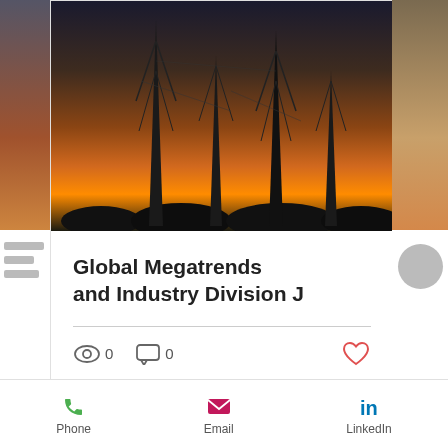[Figure (photo): Silhouette of telecommunication towers against an orange/sunset sky background]
Global Megatrends and Industry Division J
0  0  (like/heart icon)
[Figure (screenshot): Website footer with Twitter, LinkedIn social icons and back-to-top button on dark background]
Phone  Email  LinkedIn